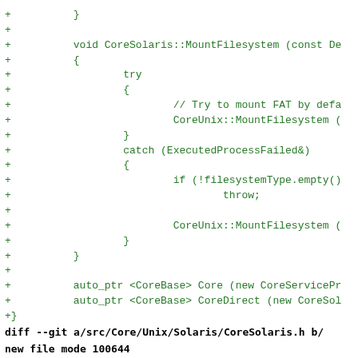Code diff showing CoreSolaris::MountFilesystem implementation and diff --git header for CoreSolaris.h